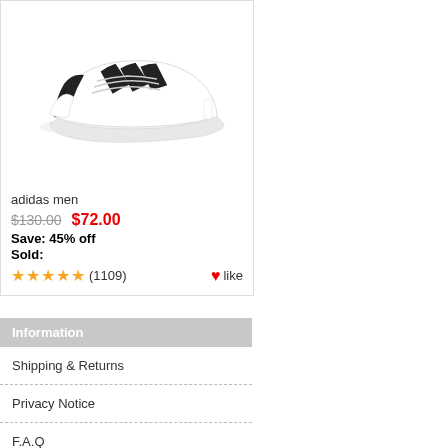[Figure (photo): White Adidas Superstar sneaker with black three stripes, side view on white background]
adidas men
$130.00  $72.00
Save: 45% off
Sold:
★★★★★ (1109)   ❤like
Information
Shipping & Returns
Privacy Notice
F.A.Q
Contact Us
Site Map